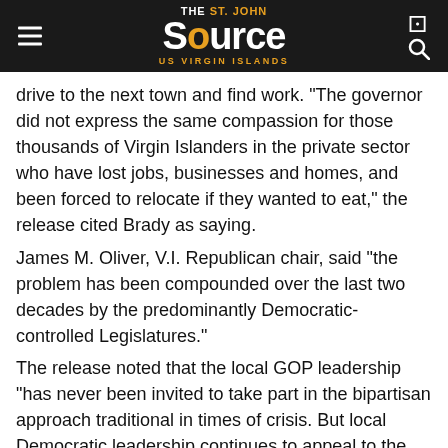THE St. John Source US VIRGIN ISLANDS
drive to the next town and find work. "The governor did not express the same compassion for those thousands of Virgin Islanders in the private sector who have lost jobs, businesses and homes, and been forced to relocate if they wanted to eat," the release cited Brady as saying.
James M. Oliver, V.I. Republican chair, said "the problem has been compounded over the last two decades by the predominantly Democratic-controlled Legislatures."
The release noted that the local GOP leadership "has never been invited to take part in the bipartisan approach traditional in times of crisis. But local Democratic leadership continues to appeal to the Republican administration in Washington for financial aid."
There are no elected Republicans in the Senate or the administration at present.